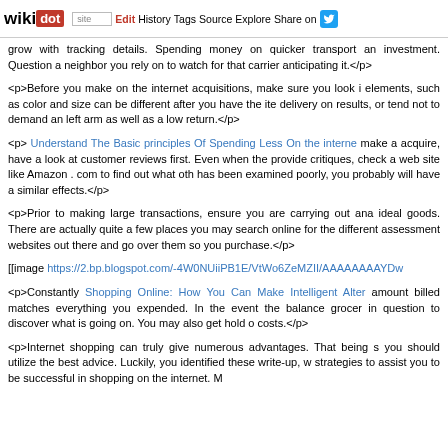wikidot | site | Edit | History | Tags | Source | Explore | Share on [Twitter]
grow with tracking details. Spending money on quicker transport an investment. Question a neighbor you rely on to watch for that carrier anticipating it.</p>
<p>Before you make on the internet acquisitions, make sure you look i elements, such as color and size can be different after you have the ite delivery on results, or tend not to demand an left arm as well as a low return.</p>
<p> Understand The Basic principles Of Spending Less On the interne make a acquire, have a look at customer reviews first. Even when the provide critiques, check a web site like Amazon . com to find out what oth has been examined poorly, you probably will have a similar effects.</p>
<p>Prior to making large transactions, ensure you are carrying out ana ideal goods. There are actually quite a few places you may search online for the different assessment websites out there and go over them so you purchase.</p>
[[image https://2.bp.blogspot.com/-4W0NUiiPB1E/VtWo6ZeMZII/AAAAAAAAYDw
<p>Constantly Shopping Online: How You Can Make Intelligent Alter amount billed matches everything you expended. In the event the balance grocer in question to discover what is going on. You may also get hold o costs.</p>
<p>Internet shopping can truly give numerous advantages. That being s you should utilize the best advice. Luckily, you identified these write-up, w strategies to assist you to be successful in shopping on the internet. M